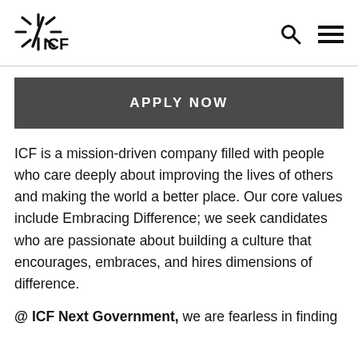[Figure (logo): ICF company logo with starburst icon and ICF text]
APPLY NOW
ICF is a mission-driven company filled with people who care deeply about improving the lives of others and making the world a better place. Our core values include Embracing Difference; we seek candidates who are passionate about building a culture that encourages, embraces, and hires dimensions of difference.
@ ICF Next Government, we are fearless in finding